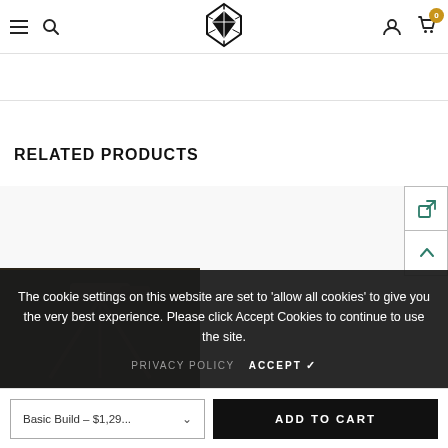Navigation header with hamburger menu, search icon, logo, account icon, and cart icon (0 items)
RELATED PRODUCTS
[Figure (screenshot): Partial product image visible in dark-toned background behind cookie banner]
[Figure (other): Two floating action buttons on right side: external link icon and up-arrow icon]
The cookie settings on this website are set to 'allow all cookies' to give you the very best experience. Please click Accept Cookies to continue to use the site.
PRIVACY POLICY   ACCEPT ✓
Basic Build – $1,29...  ∨   ADD TO CART